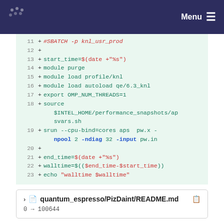Menu
[Figure (screenshot): Code diff view showing lines 11-23 of a shell script with additions marked by '+', including SBATCH directive, timing commands, module loads, srun command with arguments, and walltime calculation.]
quantum_espresso/PizDaint/README.md
0 → 100644